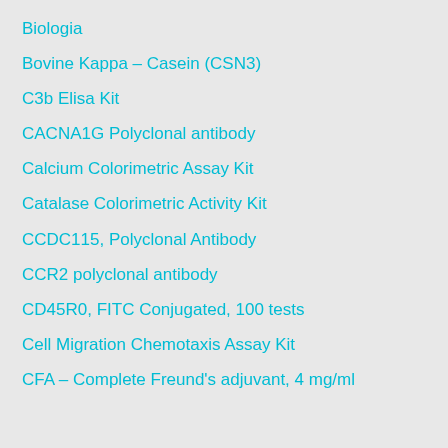Biologia
Bovine Kappa – Casein (CSN3)
C3b Elisa Kit
CACNA1G Polyclonal antibody
Calcium Colorimetric Assay Kit
Catalase Colorimetric Activity Kit
CCDC115, Polyclonal Antibody
CCR2 polyclonal antibody
CD45R0, FITC Conjugated, 100 tests
Cell Migration Chemotaxis Assay Kit
CFA – Complete Freund's adjuvant, 4 mg/ml